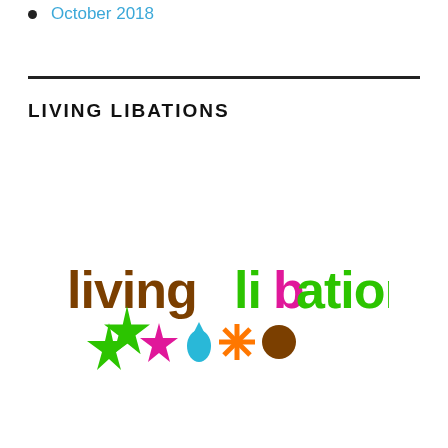October 2018
LIVING LIBATIONS
[Figure (logo): Living Libations logo: colorful text 'livinglibations' with brown 'living', green 'li', magenta 'b', green 'ations', followed by a row of icons: green 4-pointed star, magenta star, cyan drop, orange asterisk/starburst, brown circle.]